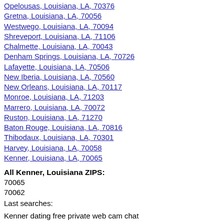Opelousas, Louisiana, LA, 70376
Gretna, Louisiana, LA, 70056
Westwego, Louisiana, LA, 70094
Shreveport, Louisiana, LA, 71106
Chalmette, Louisiana, LA, 70043
Denham Springs, Louisiana, LA, 70726
Lafayette, Louisiana, LA, 70506
New Iberia, Louisiana, LA, 70560
New Orleans, Louisiana, LA, 70117
Monroe, Louisiana, LA, 71203
Marrero, Louisiana, LA, 70072
Ruston, Louisiana, LA, 71270
Baton Rouge, Louisiana, LA, 70816
Thibodaux, Louisiana, LA, 70301
Harvey, Louisiana, LA, 70058
Kenner, Louisiana, LA, 70065
All Kenner, Louisiana ZIPS:
70065
70062
Last searches:
Kenner dating free private web cam chat
dating local free in Kenner, LA
Kenner totally free lesbian dating sdite
adult swingers bi utah free dating in Kenner, LA